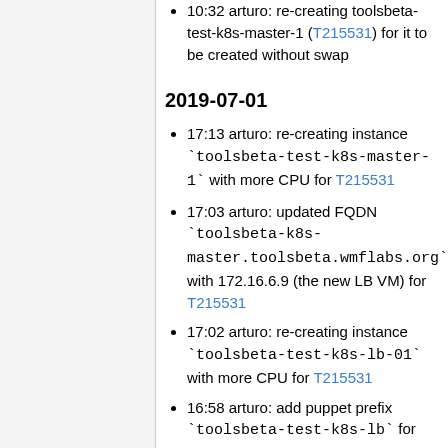10:32 arturo: re-creating toolsbeta-test-k8s-master-1 (T215531) for it to be created without swap
2019-07-01
17:13 arturo: re-creating instance `toolsbeta-test-k8s-master-1` with more CPU for T215531
17:03 arturo: updated FQDN `toolsbeta-k8s-master.toolsbeta.wmflabs.org` with 172.16.6.9 (the new LB VM) for T215531
17:02 arturo: re-creating instance `toolsbeta-test-k8s-lb-01` with more CPU for T215531
16:58 arturo: add puppet prefix `toolsbeta-test-k8s-lb` for T215531
11:50 arturo: add sssd hiera config for `toolsbeta-test-k8s-master` prefix